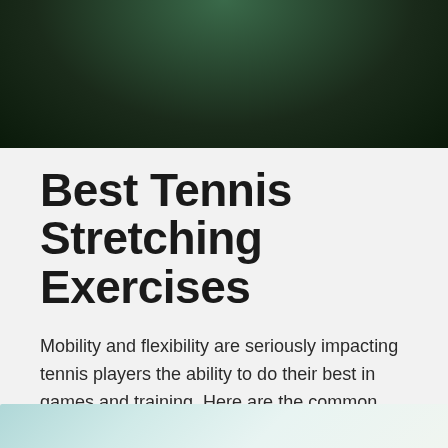[Figure (photo): Top portion of a photo showing a tennis player in action against a dark green background]
Best Tennis Stretching Exercises
Mobility and flexibility are seriously impacting tennis players the ability to do their best in games and training. Here are the common times when tennis players should consider stretching:
READ MORE
[Figure (photo): Bottom portion of another image with a light teal/mint gradient background, partially visible at the bottom of the page]